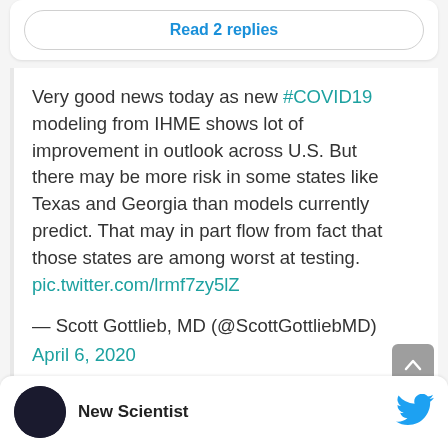Read 2 replies
Very good news today as new #COVID19 modeling from IHME shows lot of improvement in outlook across U.S. But there may be more risk in some states like Texas and Georgia than models currently predict. That may in part flow from fact that those states are among worst at testing. pic.twitter.com/lrmf7zy5lZ
— Scott Gottlieb, MD (@ScottGottliebMD)
April 6, 2020
New Scientist